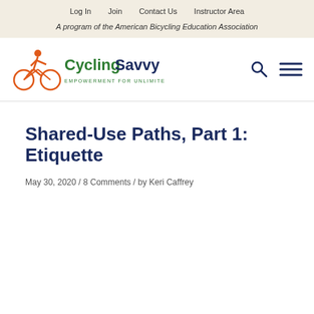Log In  /  Join  /  Contact Us  /  Instructor Area
A program of the American Bicycling Education Association
[Figure (logo): CyclingSavvy logo with orange bicycle rider icon and green CyclingSavvy text, tagline: EMPOWERMENT FOR UNLIMITED TRAVEL]
Shared-Use Paths, Part 1: Etiquette
May 30, 2020 / 8 Comments / by Keri Caffrey